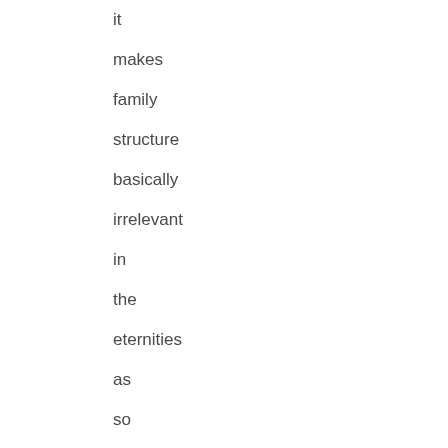it makes family structure basically irrelevant in the eternities as so much water under the bridge. In any case, if heaven is actually organized on family lines,